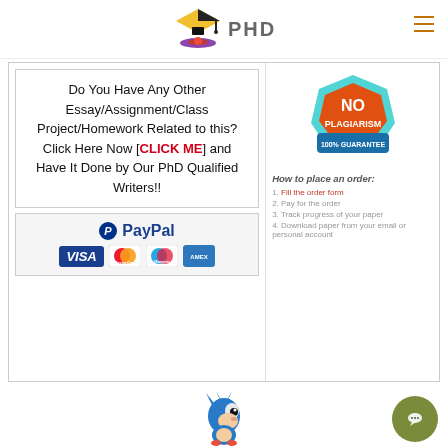[Figure (logo): PhD essay writing service logo with graduation cap and text PHD]
Do You Have Any Other Essay/Assignment/Class Project/Homework Related to this? Click Here Now [CLICK ME] and Have It Done by Our PhD Qualified Writers!!
[Figure (logo): Payment methods: PayPal, VISA, MasterCard, Maestro, American Express]
[Figure (illustration): No Plagiarism 100% Guarantee badge]
How to place an order:
1. Fill the order form
2. Pay for the order
3. Track progress of your paper
4. Download paper from your email or personal account
[Figure (illustration): Sonic the Hedgehog cartoon character running]
[Figure (illustration): Green circular chat button with speech bubble icon]